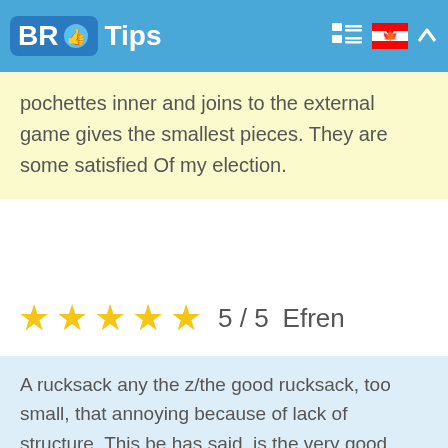BR Tips
pochettes inner and joins to the external game gives the smallest pieces. They are some satisfied Of my election.
★★★★★ 5 / 5   Efren
A rucksack any the z/the good rucksack, too small, that annoying because of lack of structure. This be has said, is the very good prize like the stock exchange wetted when the straps are takes. It could not find the good sized stock exchange wetted for a gymnasium anywhere and then